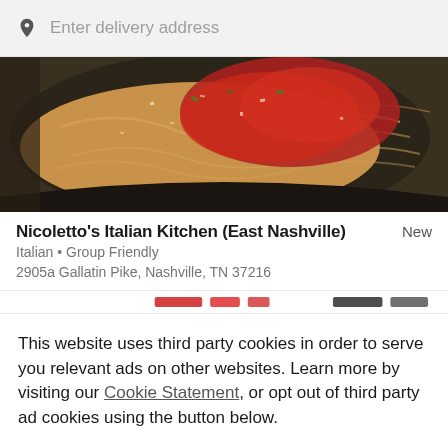Enter delivery address
[Figure (photo): Close-up overhead photo of Italian pasta dish — spaghetti with red tomato sauce and grated cheese on a dark ceramic plate]
Nicoletto's Italian Kitchen (East Nashville)
New
Italian • Group Friendly
2905a Gallatin Pike, Nashville, TN 37216
This website uses third party cookies in order to serve you relevant ads on other websites. Learn more by visiting our Cookie Statement, or opt out of third party ad cookies using the button below.
OPT OUT
GOT IT